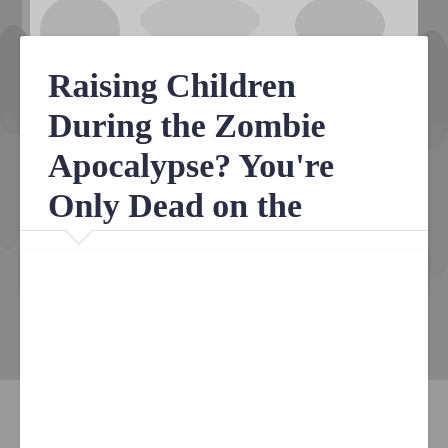Raising Children During the Zombie Apocalypse? You're Only Dead on the Inside!